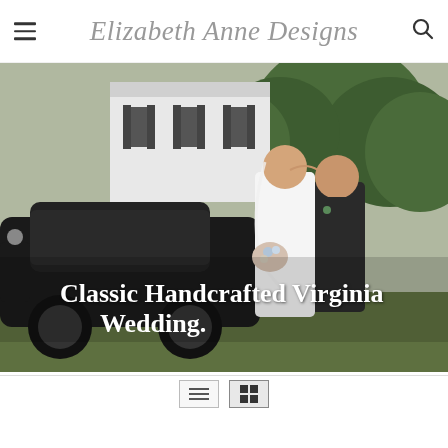Elizabeth Anne Designs
[Figure (photo): Wedding photo showing a bride and groom standing next to a vintage black car in front of a white building with dark shutters and green trees. Text overlay reads 'Classic Handcrafted Virginia Wedding'.]
Classic Handcrafted Virginia Wedding